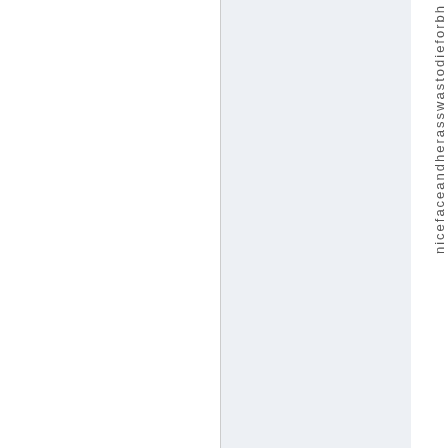nicefaceandherasswastodieforbh